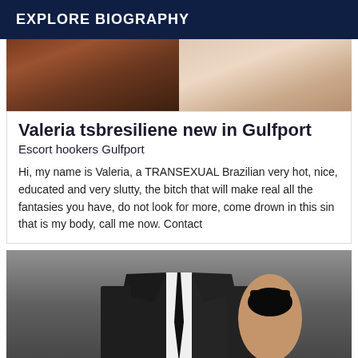EXPLORE BIOGRAPHY
[Figure (photo): Two photos side by side: left shows a dark wooden interior background; right shows a close-up of a face/skin tone background]
Valeria tsbresiliene new in Gulfport
Escort hookers Gulfport
Hi, my name is Valeria, a TRANSEXUAL Brazilian very hot, nice, educated and very slutty, the bitch that will make real all the fantasies you have, do not look for more, come drown in this sin that is my body, call me now. Contact
[Figure (photo): A man in a black suit with black tie and a woman in a backless black dress, seen from behind]